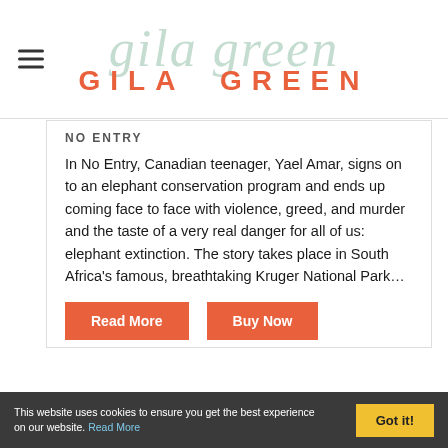Gila Green
In No Entry, Canadian teenager, Yael Amar, signs on to an elephant conservation program and ends up coming face to face with violence, greed, and murder and the taste of a very real danger for all of us: elephant extinction. The story takes place in South Africa's famous, breathtaking Kruger National Park...
Read More
Buy Now
This website uses cookies to ensure you get the best experience on our website. Read More Got it!